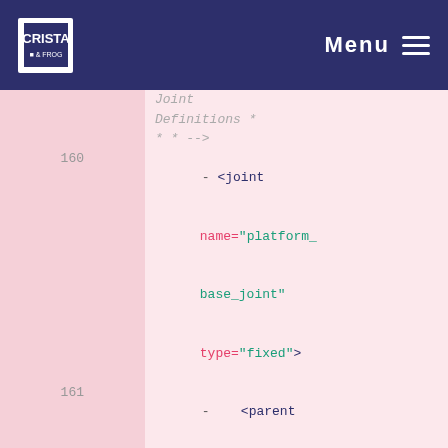Menu
Joint Definitions * * * -->
160 - <joint name="platform_base_joint" type="fixed">
161 - <parent link="base_link"/>
162 - <child link="platform_link"/>
163 - <origin rpy="0 0 0" xyz="0 0 0.35"/>
164 - </joint>
165 - <joint name="right_hul